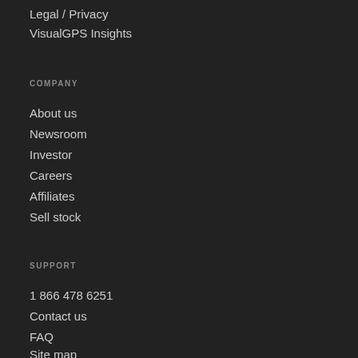Legal / Privacy
VisualGPS Insights
COMPANY
About us
Newsroom
Investor
Careers
Affiliates
Sell stock
SUPPORT
1 866 478 6251
Contact us
FAQ
Site map